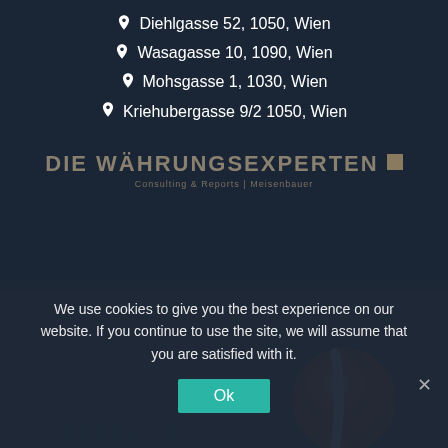Diehlgasse 52, 1050, Wien
Wasagasse 10, 1090, Wien
Mohsgasse 1, 1030, Wien
Kriehubergasse 9/2 1050, Wien
[Figure (logo): DIE WÄHRUNGSEXPERTEN logo with tagline 'Consulting & Reports | Meisenbauer']
[Figure (logo): Sport Union logo with orange ball icon]
We use cookies to give you the best experience on our website. If you continue to use the site, we will assume that you are satisfied with it.